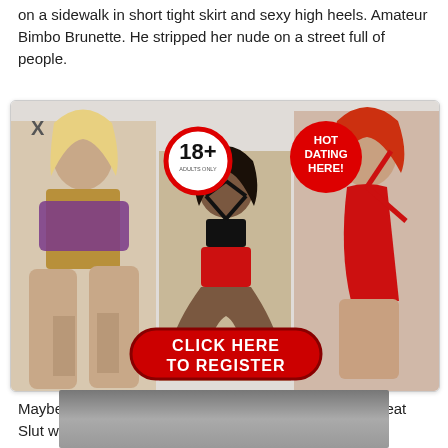on a sidewalk in short tight skirt and sexy high heels. Amateur Bimbo Brunette. He stripped her nude on a street full of people.
[Figure (photo): Adult dating advertisement banner with three women models, an 18+ adults only badge, a HOT DATING HERE! badge, and a red CLICK HERE TO REGISTER button.]
Maybe to pay off a bet? Big Tits Naked Public. Street Meat Slut with Pokies.
[Figure (photo): Partially visible photo at the bottom of the page, dark/gray tones.]